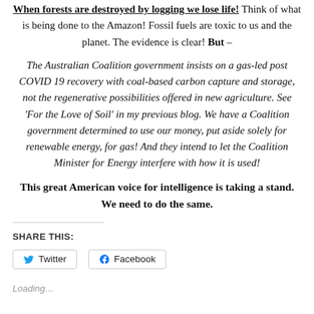When forests are destroyed by logging we lose life! Think of what is being done to the Amazon! Fossil fuels are toxic to us and the planet. The evidence is clear! But –
The Australian Coalition government insists on a gas-led post COVID 19 recovery with coal-based carbon capture and storage, not the regenerative possibilities offered in new agriculture. See 'For the Love of Soil' in my previous blog. We have a Coalition government determined to use our money, put aside solely for renewable energy, for gas! And they intend to let the Coalition Minister for Energy interfere with how it is used!
This great American voice for intelligence is taking a stand. We need to do the same.
SHARE THIS:
Twitter   Facebook
Loading…